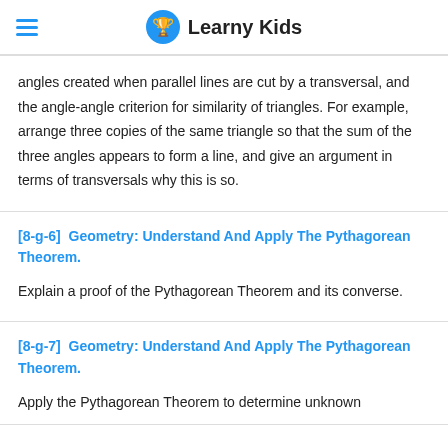Learny Kids
angles created when parallel lines are cut by a transversal, and the angle-angle criterion for similarity of triangles. For example, arrange three copies of the same triangle so that the sum of the three angles appears to form a line, and give an argument in terms of transversals why this is so.
[8-g-6]  Geometry: Understand And Apply The Pythagorean Theorem.
Explain a proof of the Pythagorean Theorem and its converse.
[8-g-7]  Geometry: Understand And Apply The Pythagorean Theorem.
Apply the Pythagorean Theorem to determine unknown